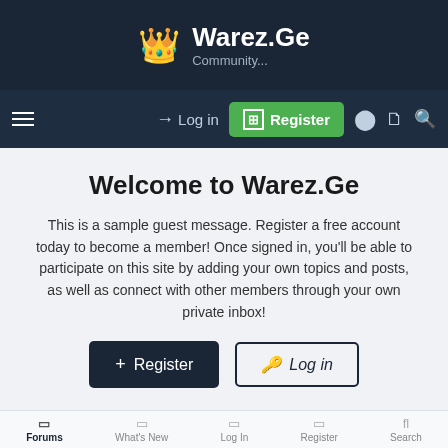Warez.Ge — Community...
Welcome to Warez.Ge
This is a sample guest message. Register a free account today to become a member! Once signed in, you'll be able to participate on this site by adding your own topics and posts, as well as connect with other members through your own private inbox!
Forums | What's New | Log In | Register | Search